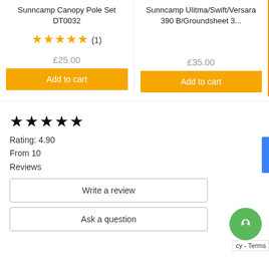Sunncamp Canopy Pole Set DT0032
Sunncamp Ulitma/Swift/Versara 390 B/Groundsheet 3...
★★★★★ (1)
£25.00
£35.00
Add to cart
Add to cart
★★★★★
Rating: 4.90
From 10
Reviews
Write a review
Ask a question